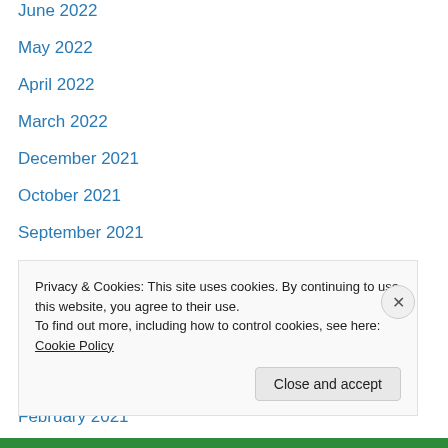June 2022
May 2022
April 2022
March 2022
December 2021
October 2021
September 2021
July 2021
May 2021
April 2021
March 2021
February 2021
January 2021
December 2020
Privacy & Cookies: This site uses cookies. By continuing to use this website, you agree to their use.
To find out more, including how to control cookies, see here: Cookie Policy